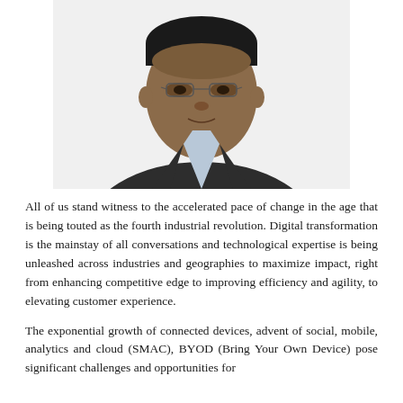[Figure (photo): Headshot of a man wearing glasses and a dark blazer over a light blue shirt, photographed against a white background.]
All of us stand witness to the accelerated pace of change in the age that is being touted as the fourth industrial revolution. Digital transformation is the mainstay of all conversations and technological expertise is being unleashed across industries and geographies to maximize impact, right from enhancing competitive edge to improving efficiency and agility, to elevating customer experience.
The exponential growth of connected devices, advent of social, mobile, analytics and cloud (SMAC), BYOD (Bring Your Own Device) pose significant challenges and opportunities for